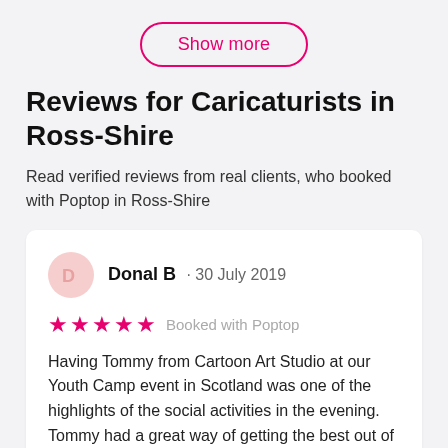[Figure (other): Show more button with pink border and pink text]
Reviews for Caricaturists in Ross-Shire
Read verified reviews from real clients, who booked with Poptop in Ross-Shire
Donal B · 30 July 2019
★★★★★ Booked with Poptop
Having Tommy from Cartoon Art Studio at our Youth Camp event in Scotland was one of the highlights of the social activities in the evening. Tommy had a great way of getting the best out of the partic…